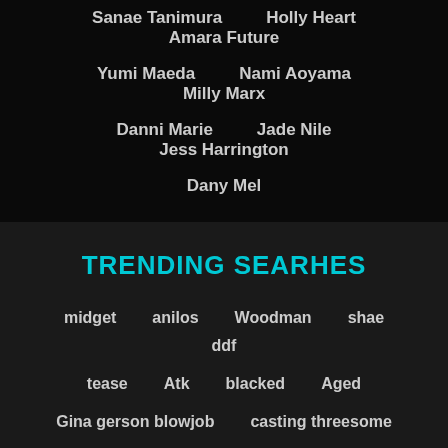Sanae Tanimura   Holly Heart   Amara Future
Yumi Maeda   Nami Aoyama   Milly Marx
Danni Marie   Jade Nile   Jess Harrington
Dany Mel
TRENDING SEARHES
midget   anilos   Woodman   shae   ddf
tease   Atk   blacked   Aged
Gina gerson blowjob   casting threesome
Chaturbate   milk   mature rimming
threesome compilation   Backroom